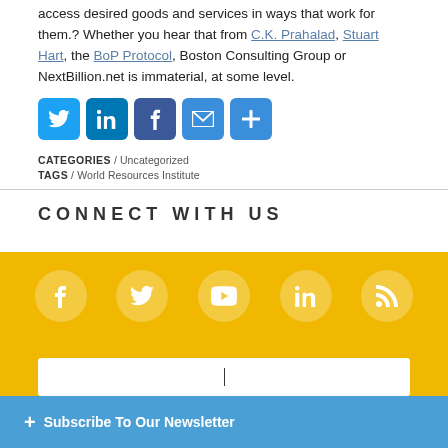access desired goods and services in ways that work for them.? Whether you hear that from C.K. Prahalad, Stuart Hart, the BoP Protocol, Boston Consulting Group or NextBillion.net is immaterial, at some level.
[Figure (infographic): Social share icons: Twitter, LinkedIn, Facebook, Email, More (plus sign)]
CATEGORIES / Uncategorized
TAGS / World Resources Institute
CONNECT WITH US
[Figure (infographic): Social media circle icons on yellow background: Facebook, Twitter, YouTube, LinkedIn, RSS]
+ Subscribe To Our Newsletter